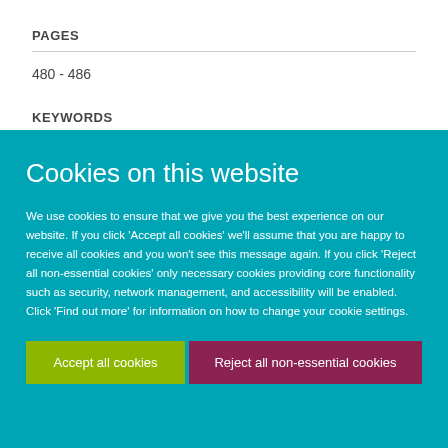PAGES
480 - 486
KEYWORDS
Cookies on this website
We use cookies to ensure that we give you the best experience on our website. If you click 'Accept all cookies' we'll assume that you are happy to receive all cookies and you won't see this message again. If you click 'Reject all non-essential cookies' only necessary cookies providing core functionality such as security, network management, and accessibility will be enabled. Click 'Find out more' for information on how to change your cookie settings.
Accept all cookies
Reject all non-essential cookies